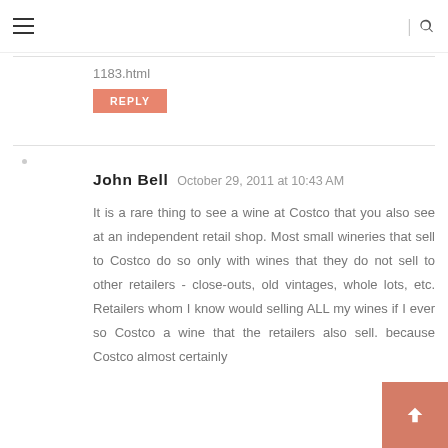≡  |  🔍
1183.html
REPLY
John Bell  October 29, 2011 at 10:43 AM
It is a rare thing to see a wine at Costco that you also see at an independent retail shop. Most small wineries that sell to Costco do so only with wines that they do not sell to other retailers - close-outs, old vintages, whole lots, etc. Retailers whom I know would selling ALL my wines if I ever so Costco a wine that the retailers also sell. because Costco almost certainly